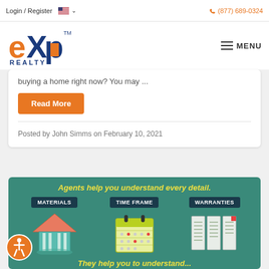Login / Register  (877) 689-0324
[Figure (logo): eXp Realty logo in blue and orange with TM mark]
buying a home right now? You may ...
Read More
Posted by John Simms on February 10, 2021
[Figure (infographic): Teal infographic: 'Agents help you understand every detail.' Three columns: MATERIALS (house icon), TIME FRAME (calendar icon), WARRANTIES (document icon). Partial bottom text visible.]